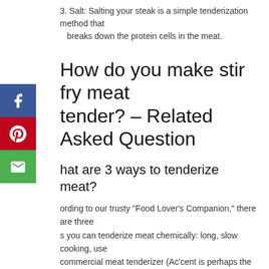3. Salt: Salting your steak is a simple tenderization method that breaks down the protein cells in the meat.
How do you make stir fry meat tender? – Related Asked Question
What are 3 ways to tenderize meat?
According to our trusty “Food Lover’s Companion,” there are three ways you can tenderize meat chemically: long, slow cooking, use of a commercial meat tenderizer (Ac’cent is perhaps the best-known brand), or marinating in an acid-based marinade that contains enzymes, which break down connective tissue.
Why is my stir-fry beef chewy?
However, they turn out all dry and chewy when cooked in a stir-fry. Always make sure you are cooking your stir-fries quickly over